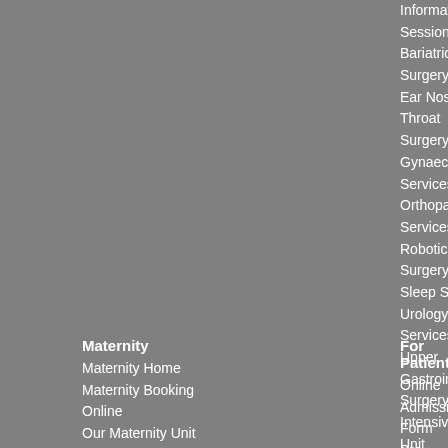Information Sessions
Bariatric Surgery
Ear Nose and Throat Surgery
Gynaecology Services
Orthopaedic Services
Robotic Surgery
Sleep Studies
Urology Services
Upper Gastrointestinal Surgery
Intensive Care Unit
Plastic Surgery
Physiotherapy
Ramsay Health Plus
Vascular Surgery
Ramsay Pharmacy
Maternity
Maternity Home
Maternity Booking Online
Our Maternity Unit
For Patients
Online Admission Form
Pre-Admission Information